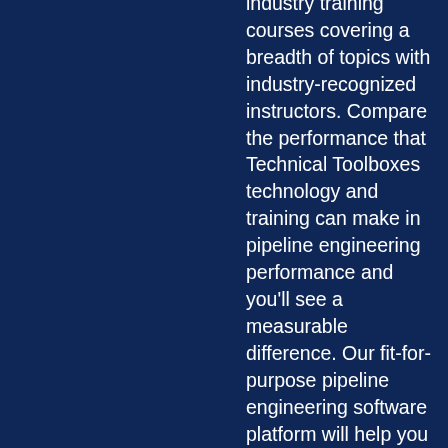industry training courses covering a breadth of topics with industry-recognized instructors. Compare the performance that Technical Toolboxes technology and training can make in pipeline engineering performance and you'll see a measurable difference. Our fit-for-purpose pipeline engineering software platform will help you reduce risk, lower the total cost of operations, and accelerate project schedules. Hundreds of companies rely on our